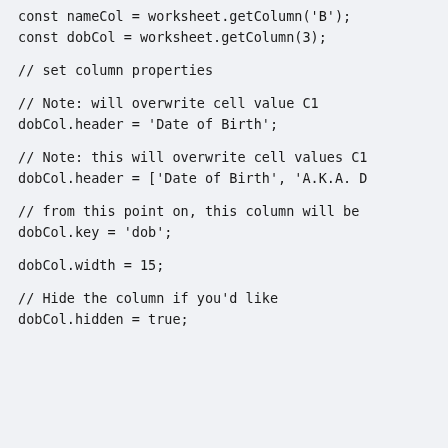const nameCol = worksheet.getColumn('B');
const dobCol = worksheet.getColumn(3);

// set column properties

// Note: will overwrite cell value C1
dobCol.header = 'Date of Birth';

// Note: this will overwrite cell values C1
dobCol.header = ['Date of Birth', 'A.K.A. D

// from this point on, this column will be
dobCol.key = 'dob';

dobCol.width = 15;

// Hide the column if you'd like
dobCol.hidden = true;